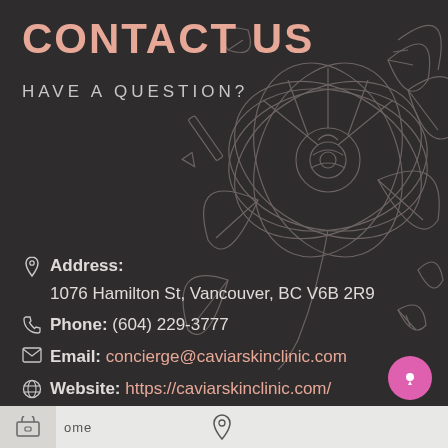CONTACT US
HAVE A QUESTION?
Address: 1076 Hamilton St, Vancouver, BC V6B 2R9
Phone: (604) 229-3777
Email: concierge@caviarskinclinic.com
Website: https://caviarskinclinic.com/
ome